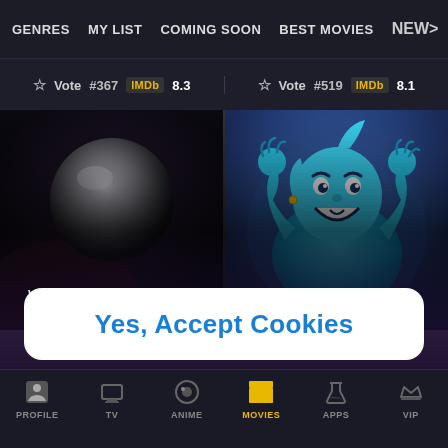GENRES  MY LIST  COMING SOON  BEST MOVIES  NEW>
Vote #367 IMDb 8.3   Vote #519 IMDb 8.1
[Figure (screenshot): Two movie thumbnails side by side: left shows a dark orb/sphere, right shows the blue Genie character from Aladdin animated movie]
We'll use cookies to improve and customize your experience if you continue to browse. Is it OK if we also use cookies to show you personalized ads?
Yes, Accept Cookies
PROFILE  TV  ANIME  MOVIES  APPS  VIP